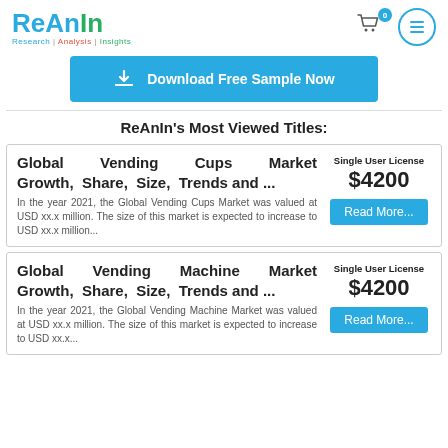ReAnIn Research | Analysis | Insights
[Figure (other): Download Free Sample Now button with download icon]
ReAnIn's Most Viewed Titles:
Global Vending Cups Market Growth, Share, Size, Trends and ... Single User License $4200 Read More... In the year 2021, the Global Vending Cups Market was valued at USD xx.x million. The size of this market is expected to increase to USD xx.x million...
Global Vending Machine Market Growth, Share, Size, Trends and ... Single User License $4200 Read More... In the year 2021, the Global Vending Machine Market was valued at USD xx.x million. The size of this market is expected to increase to USD xx.x...